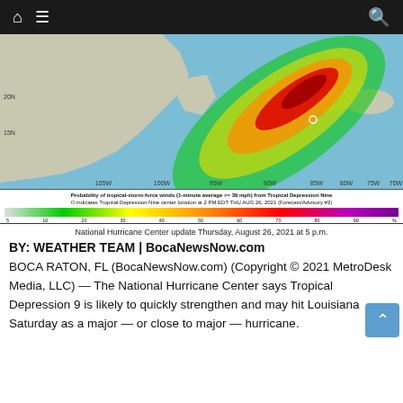Navigation bar with home, menu, and search icons
[Figure (map): NHC wind probability map showing Tropical Depression Nine track over Caribbean/Gulf of Mexico region with color-coded probability bands from green to red indicating 5-90% probability of tropical-storm-force winds]
Probability of tropical-storm-force winds (1-minute average >= 39 mph) from Tropical Depression Nine
O indicates Tropical Depression Nine center location at 2 PM EDT THU AUG 26, 2021 (Forecast/Advisory #2)
National Hurricane Center update Thursday, August 26, 2021 at 5 p.m.
BY: WEATHER TEAM | BocaNewsNow.com
BOCA RATON, FL (BocaNewsNow.com) (Copyright © 2021 MetroDesk Media, LLC) — The National Hurricane Center says Tropical Depression 9 is likely to quickly strengthen and may hit Louisiana Saturday as a major — or close to major — hurricane.